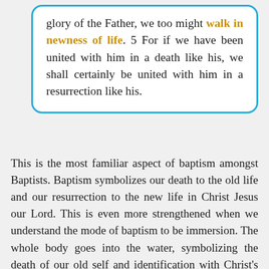glory of the Father, we too might walk in newness of life. 5 For if we have been united with him in a death like his, we shall certainly be united with him in a resurrection like his.
This is the most familiar aspect of baptism amongst Baptists. Baptism symbolizes our death to the old life and our resurrection to the new life in Christ Jesus our Lord. This is even more strengthened when we understand the mode of baptism to be immersion. The whole body goes into the water, symbolizing the death of our old self and identification with Christ's death and